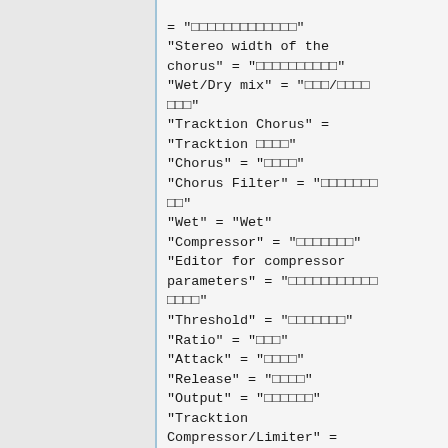= "□□□□□□□□□□□□□"
"Stereo width of the chorus" = "□□□□□□□□□□"
"Wet/Dry mix" = "□□□/□□□□□□□□"
"Tracktion Chorus" = "Tracktion □□□□"
"Chorus" = "□□□□"
"Chorus Filter" = "□□□□□□□□"
"Wet" = "Wet"
"Compressor" = "□□□□□□□"
"Editor for compressor parameters" = "□□□□□□□□□□□□□□□"
"Threshold" = "□□□□□□□"
"Ratio" = "□□□"
"Attack" = "□□□□"
"Release" = "□□□□"
"Output" = "□□□□□□"
"Tracktion Compressor/Limiter" = "Tracktion □□□□□□□/□□□□□"
"Threshold above which compression is active" =